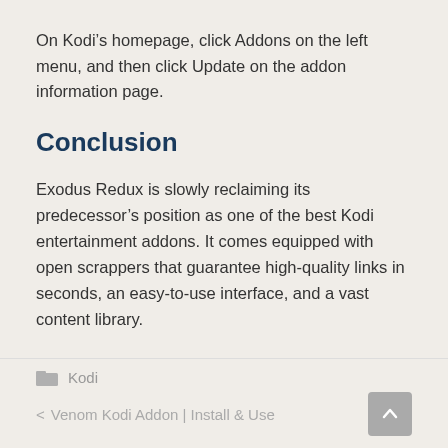On Kodi’s homepage, click Addons on the left menu, and then click Update on the addon information page.
Conclusion
Exodus Redux is slowly reclaiming its predecessor’s position as one of the best Kodi entertainment addons. It comes equipped with open scrappers that guarantee high-quality links in seconds, an easy-to-use interface, and a vast content library.
Kodi
< Venom Kodi Addon | Install & Use